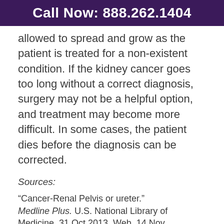Call Now: 888.262.1404
allowed to spread and grow as the patient is treated for a non-existent condition. If the kidney cancer goes too long without a correct diagnosis, surgery may not be a helpful option, and treatment may become more difficult. In some cases, the patient dies before the diagnosis can be corrected.
Sources:
“Cancer-Renal Pelvis or ureter.” Medline Plus. U.S. National Library of Medicine. 31 Oct 2013. Web. 14 Nov